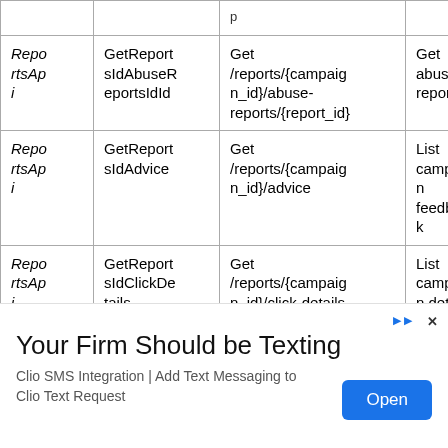| API | Method | Path | Description |
| --- | --- | --- | --- |
| ReportsApi | GetReportsIdAbuseReportsIdId | Get /reports/{campaign_id}/abuse-reports/{report_id} | Get abuse report |
| ReportsApi | GetReportsIdAdvice | Get /reports/{campaign_id}/advice | List campaign feedback |
| ReportsApi | GetReportsIdClickDetails | Get /reports/{campaign_id}/click-details | List campaign details |
| ReportsApi | (partial) | Get | Get |